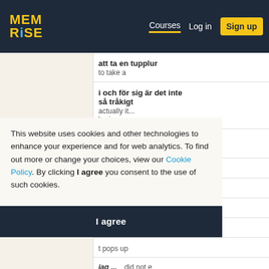MEM RiSE — Courses | Log in | Sign up
| Swedish | English |
| --- | --- |
| att ta en tupplur | to take a |
| i och för sig är det inte så tråkigt | actually it... boring |
| att stämma en gitarr | to tune a |
|  | o stand i |
|  | They invi |
|  | he case, |
|  | you stapl |
|  | t pops up |
| jag ... | did not e |
This website uses cookies and other technologies to enhance your experience and for web analytics. To find out more or change your choices, view our Cookie Policy. By clicking I agree you consent to the use of such cookies.
I agree